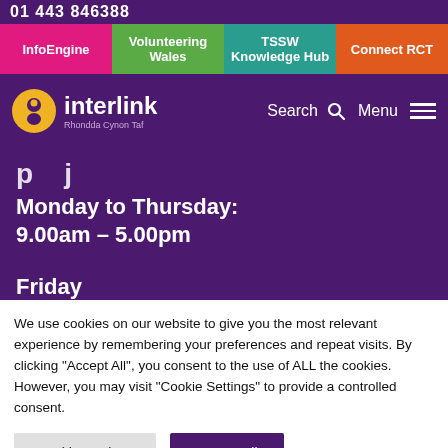01 443 846308
InfoEngine | Volunteering Wales | TSSW Knowledge Hub | Connect RCT
[Figure (logo): Interlink Rhondda Cynon Taf logo with yellow circle icon and white text]
Monday to Thursday:
9.00am – 5.00pm
Friday
We use cookies on our website to give you the most relevant experience by remembering your preferences and repeat visits. By clicking "Accept All", you consent to the use of ALL the cookies. However, you may visit "Cookie Settings" to provide a controlled consent.
Cookie Settings
Accept All